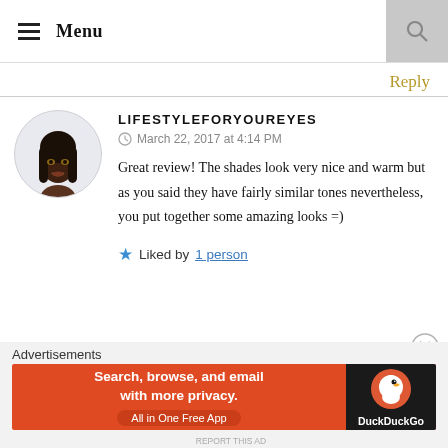Menu
Reply
LIFESTYLEFORYOUREYES
March 22, 2017 at 4:14 PM
Great review! The shades look very nice and warm but as you said they have fairly similar tones nevertheless, you put together some amazing looks =)
Liked by 1 person
Advertisements
[Figure (screenshot): DuckDuckGo advertisement banner: orange background with text 'Search, browse, and email with more privacy. All in One Free App' and DuckDuckGo logo on dark background]